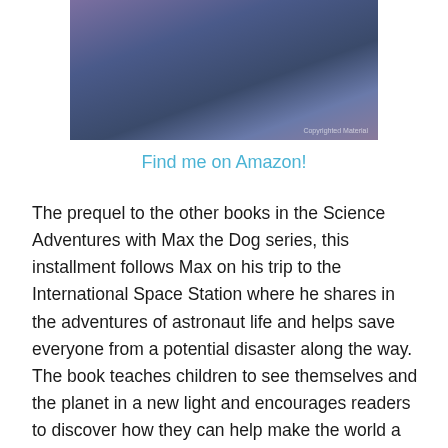[Figure (photo): Photo of a book cover related to the Science Adventures with Max the Dog series, showing space-themed imagery. Watermark text reads 'Copyrighted Material'.]
Find me on Amazon!
The prequel to the other books in the Science Adventures with Max the Dog series, this installment follows Max on his trip to the International Space Station where he shares in the adventures of astronaut life and helps save everyone from a potential disaster along the way. The book teaches children to see themselves and the planet in a new light and encourages readers to discover how they can help make the world a better place. Accompanying the story of how Max saves the day are numerous “Big Kid Box” sidebars that offer science facts and other pieces of fascinating information. Grown-ups and kids learn about science together with this fun and educational